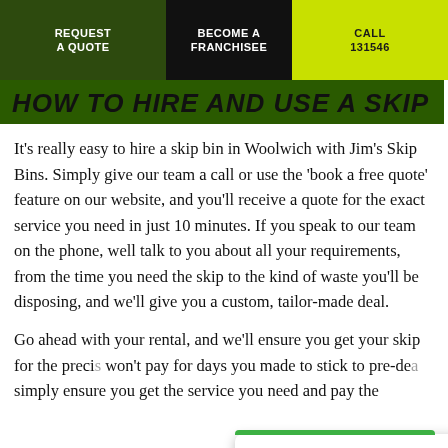REQUEST A QUOTE | BECOME A FRANCHISEE | CALL 131546
HOW TO HIRE AND USE A SKIP
It's really easy to hire a skip bin in Woolwich with Jim's Skip Bins. Simply give our team a call or use the 'book a free quote' feature on our website, and you'll receive a quote for the exact service you need in just 10 minutes. If you speak to our team on the phone, well talk to you about all your requirements, from the time you need the skip to the kind of waste you'll be disposing, and we'll give you a custom, tailor-made deal.
Go ahead with your rental, and we'll ensure you get your skip for the preci… won't pay for days you … made to stick to pre-de… simply ensure you get the service you need and pay the…
[Figure (infographic): Google Rating overlay showing 4.7 stars based on 501 reviews, with Google G logo and star rating display]